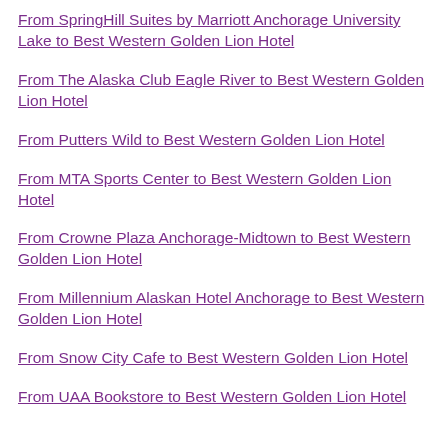From SpringHill Suites by Marriott Anchorage University Lake to Best Western Golden Lion Hotel
From The Alaska Club Eagle River to Best Western Golden Lion Hotel
From Putters Wild to Best Western Golden Lion Hotel
From MTA Sports Center to Best Western Golden Lion Hotel
From Crowne Plaza Anchorage-Midtown to Best Western Golden Lion Hotel
From Millennium Alaskan Hotel Anchorage to Best Western Golden Lion Hotel
From Snow City Cafe to Best Western Golden Lion Hotel
From UAA Bookstore to Best Western Golden Lion Hotel